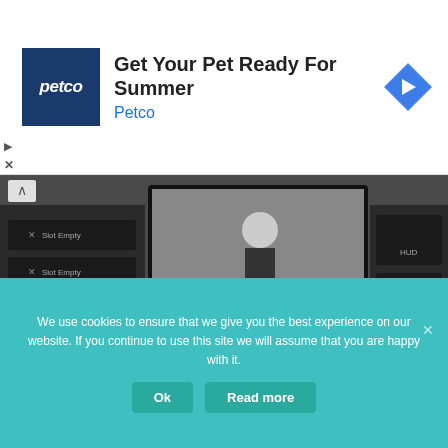[Figure (screenshot): Petco advertisement banner with logo, heading 'Get Your Pet Ready For Summer', subtext 'Petco', and a blue diamond navigation arrow icon on the right.]
[Figure (screenshot): Black and white game screenshot showing a first-person view of a security-camera style room with monitors displaying 'Slot Empty' labels and a figure visible on the center screen.]
Play the Possession Experiment will make you jump out of your chair, with scares and suspense at every moment in front of the unknown... You dare dive into this adventure of fear?
We use cookies to ensure that we give you the best experience on our website. If you continue to use this site we will assume that you are happy with it.